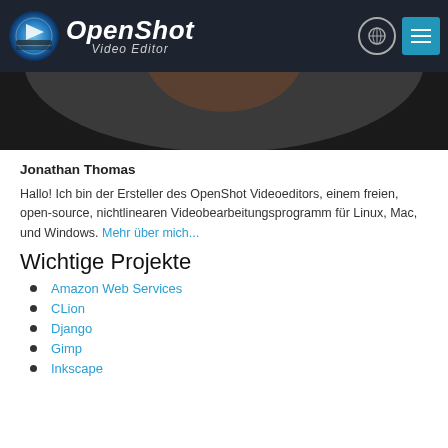OpenShot Video Editor
[Figure (photo): Partial photo of a person wearing a black shirt, cropped to show lower face/chin area against a dark background]
Jonathan Thomas
Hallo! Ich bin der Ersteller des OpenShot Videoeditors, einem freien, open-source, nichtlinearen Videobearbeitungsprogramm für Linux, Mac, und Windows. Mehr über mich...
Wichtige Projekte
Amazon Web Services
CLion
Django
Gimp
Inkscape